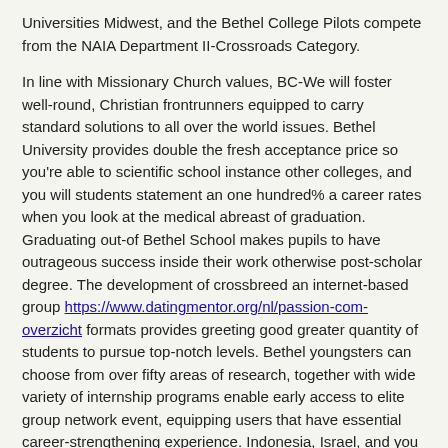Universities Midwest, and the Bethel College Pilots compete from the NAIA Department II-Crossroads Category.
In line with Missionary Church values, BC-We will foster well-round, Christian frontrunners equipped to carry standard solutions to all over the world issues. Bethel University provides double the fresh acceptance price so you're able to scientific school instance other colleges, and you will students statement an one hundred% a career rates when you look at the medical abreast of graduation. Graduating out-of Bethel School makes pupils to have outrageous success inside their work otherwise post-scholar degree. The development of crossbreed an internet-based group https://www.datingmentor.org/nl/passion-com-overzicht formats provides greeting good greater quantity of students to pursue top-notch levels. Bethel youngsters can choose from over fifty areas of research, together with wide variety of internship programs enable early access to elite group network event, equipping users that have essential career-strengthening experience. Indonesia, Israel, and you will Mongolia are merely a number of sites within the Bethel's analysis-overseas program, in which college students can also be develop its worldviews if you are providing anybody else for the a in the world height. Closer to house, not, Bethel youngsters be involved in local provider projects in the Mishawaka/Southern Fold community. Religious creativity, mentorship, and trust-oriented academics